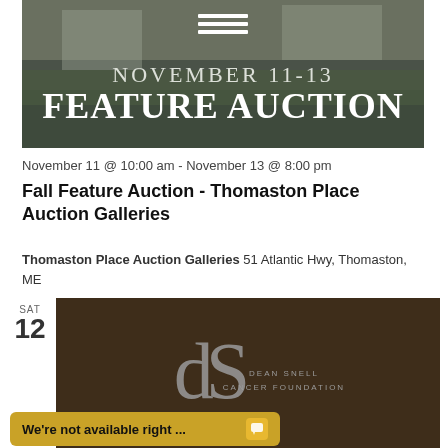[Figure (photo): Header banner photo showing a stone building with hedges, overlaid with text NOVEMBER 11-13 FEATURE AUCTION]
November 11 @ 10:00 am - November 13 @ 8:00 pm
Fall Feature Auction - Thomaston Place Auction Galleries
Thomaston Place Auction Galleries 51 Atlantic Hwy, Thomaston, ME
SAT
12
[Figure (logo): Dean Snell Cancer Foundation logo on dark brown background]
We're not available right ...